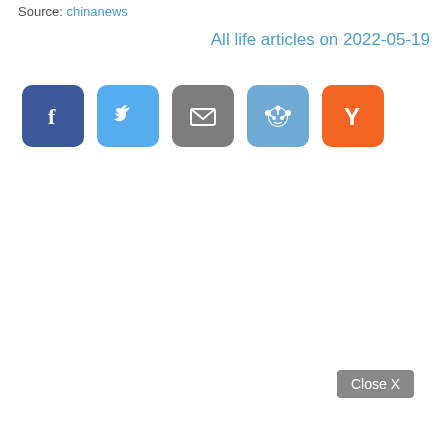Source: chinanews
All life articles on 2022-05-19
[Figure (other): Row of five social share buttons: Facebook (blue), Twitter (light blue), Email (gray), Reddit (light blue), Hacker News Y Combinator (orange)]
Close X